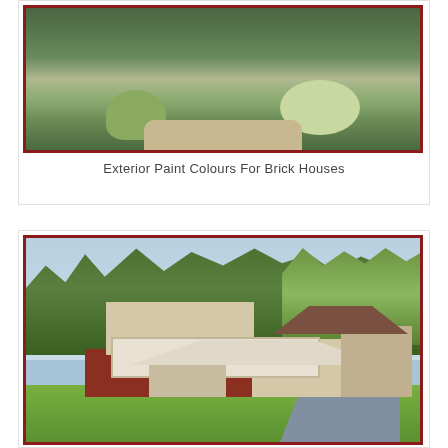[Figure (photo): Exterior photo of a house with garden landscape, showing shrubs, flowers, and a pathway, bordered by a dark red frame]
Exterior Paint Colours For Brick Houses
[Figure (photo): Exterior photo of a two-story brick and siding house with white trim, covered porch, attached garage, and green lawn bordered by a dark red frame]